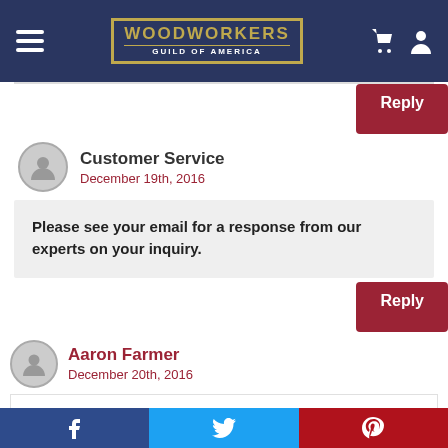Woodworkers Guild of America
Customer Service
December 19th, 2016
Please see your email for a response from our experts on your inquiry.
Aaron Farmer
December 20th, 2016
Thanks for the idea and plans! I actually took an idea from your barrel box and incorporated it with the dish! working out great! Ill post it on my Facebook after